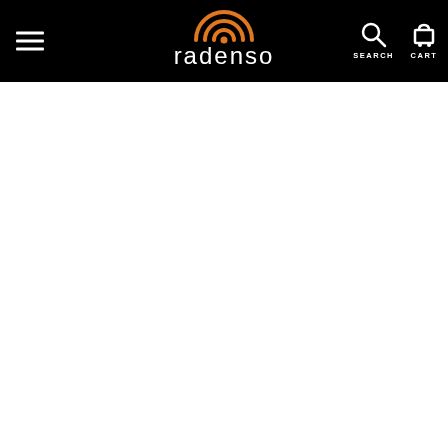radenso — SEARCH | CART navigation header
[Figure (logo): Radenso logo: orange wifi/signal arc icon above stylized text 'radenso' in white, on black navigation bar]